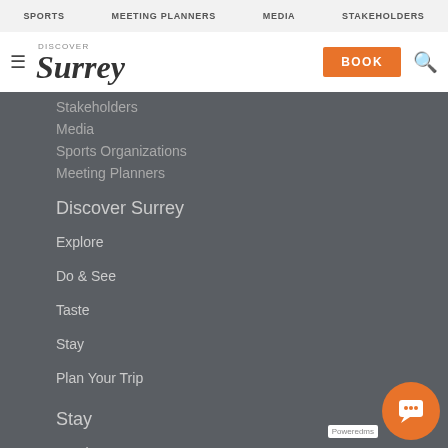SPORTS | MEETING PLANNERS | MEDIA | STAKEHOLDERS
[Figure (logo): Discover Surrey logo with hamburger menu icon, BOOK button, and search icon]
Stakeholders
Media
Sports Organizations
Meeting Planners
Discover Surrey
Explore
Do & See
Taste
Stay
Plan Your Trip
Stay
Hotels
Motels
Bed & Breakfasts
Camping & RV
Search Lodging